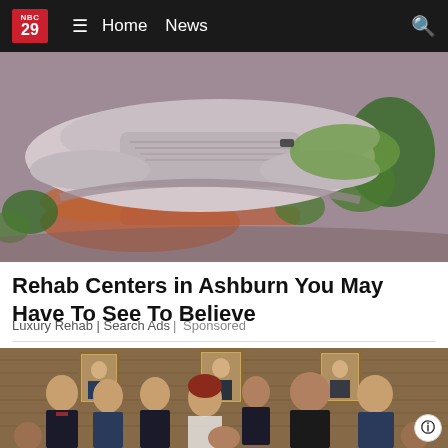NBC 29 | Home | News
[Figure (photo): Aerial view of a large modern curved building complex surrounded by landscaped grounds with red clay paths and green trees.]
Rehab Centers in Ashburn You May Have To See To Believe
Luxury Rehab | Search Ads | Sponsored
[Figure (photo): Group photo of approximately nine professionals in business attire standing in front of a wood-paneled wall with framed portrait paintings.]